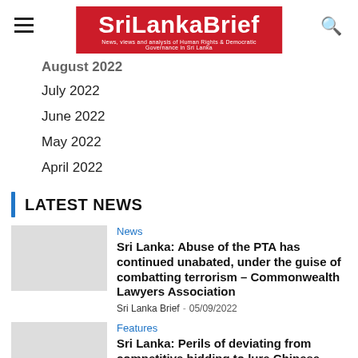SriLankaBrief — News, views and analysis of Human Rights & Democratic Governance in Sri Lanka
August 2022 (partial)
July 2022
June 2022
May 2022
April 2022
LATEST NEWS
News
Sri Lanka: Abuse of the PTA has continued unabated, under the guise of combatting terrorism – Commonwealth Lawyers Association
Sri Lanka Brief · 05/09/2022
Features
Sri Lanka: Perils of deviating from competitive bidding to lure Chinese funding for infrastructure